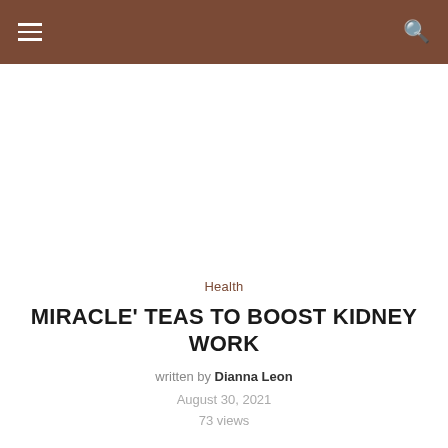≡  🔍
Health
MIRACLE' TEAS TO BOOST KIDNEY WORK
written by Dianna Leon
August 30, 2021
73 views